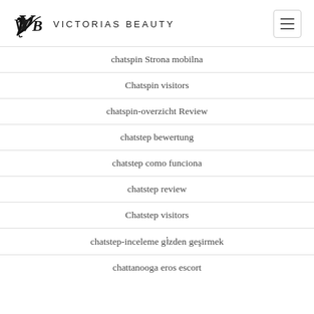Victorias Beauty
chatspin Strona mobilna
Chatspin visitors
chatspin-overzicht Review
chatstep bewertung
chatstep como funciona
chatstep review
Chatstep visitors
chatstep-inceleme gözden geçirmek
chattanooga eros escort